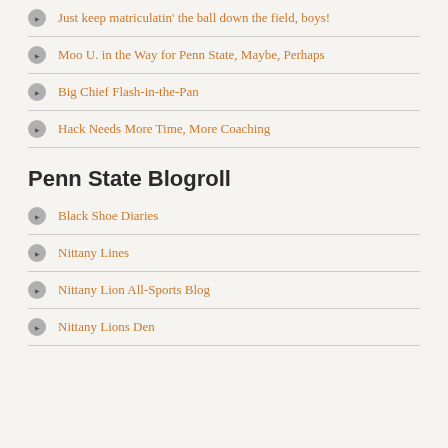Just keep matriculatin' the ball down the field, boys!
Moo U. in the Way for Penn State, Maybe, Perhaps
Big Chief Flash-in-the-Pan
Hack Needs More Time, More Coaching
Penn State Blogroll
Black Shoe Diaries
Nittany Lines
Nittany Lion All-Sports Blog
Nittany Lions Den